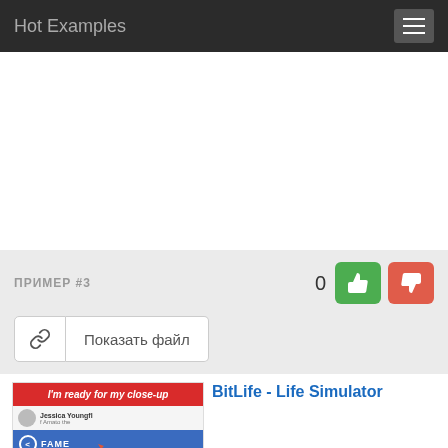Hot Examples
[Figure (screenshot): Gray content/ad area placeholder]
ПРИМЕР #3
0
Показать файл
[Figure (screenshot): BitLife - Life Simulator ad banner showing app screenshot with red header 'I'm ready for my close-up', Fame menu, Photo Shoot option circled, and Talk Show listing]
BitLife - Life Simulator
Ad